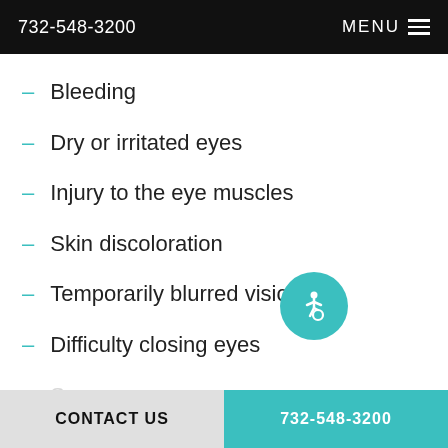732-548-3200  MENU
Bleeding
Dry or irritated eyes
Injury to the eye muscles
Skin discoloration
Temporarily blurred vision
Difficulty closing eyes
CONTACT US   732-548-3200